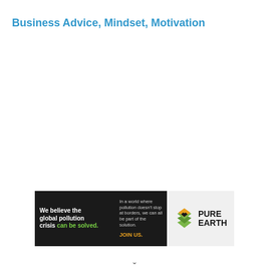Business Advice, Mindset, Motivation
[Figure (infographic): Pure Earth advertisement banner. Left dark section reads: 'We believe the global pollution crisis can be solved.' (with 'can be solved.' in green). Middle dark section reads: 'In a world where pollution doesn't stop at borders, we can all be part of the solution.' with 'JOIN US.' in orange. Right section shows Pure Earth logo with layered diamond/chevron icon in orange and green and bold text 'PURE EARTH'.]
v